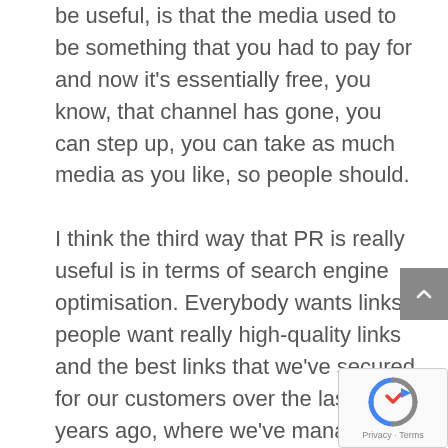be useful, is that the media used to be something that you had to pay for and now it's essentially free, you know, that channel has gone, you can step up, you can take as much media as you like, so people should.

I think the third way that PR is really useful is in terms of search engine optimisation. Everybody wants links, people want really high-quality links and the best links that we've secured for our customers over the last 20 years ago, where we've managed to convince a journalist that the BBC online, look, here's a really interesting, funky story and they'll publish it and it will sit there forever. And Google will go Okay, the BBC are